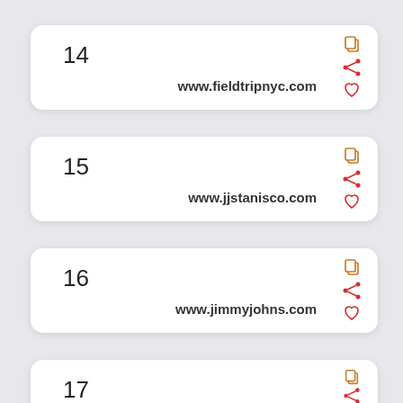14  www.fieldtripnyc.com
15  www.jjstanisco.com
16  www.jimmyjohns.com
17  www.gibneys.com